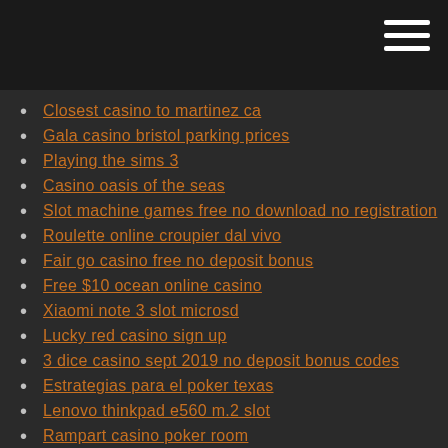Closest casino to martinez ca
Gala casino bristol parking prices
Playing the sims 3
Casino oasis of the seas
Slot machine games free no download no registration
Roulette online croupier dal vivo
Fair go casino free no deposit bonus
Free $10 ocean online casino
Xiaomi note 3 slot microsd
Lucky red casino sign up
3 dice casino sept 2019 no deposit bonus codes
Estrategias para el poker texas
Lenovo thinkpad e560 m.2 slot
Rampart casino poker room